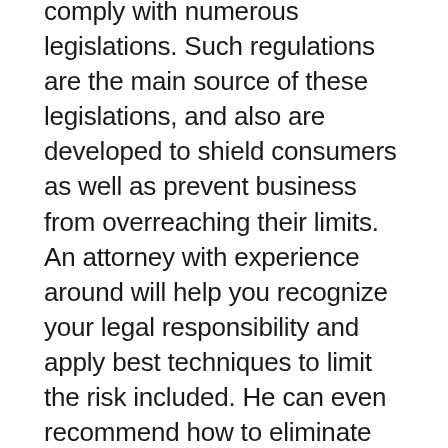comply with numerous legislations. Such regulations are the main source of these legislations, and also are developed to shield consumers as well as prevent business from overreaching their limits. An attorney with experience around will help you recognize your legal responsibility and apply best techniques to limit the risk included. He can even recommend how to eliminate profane web content from a program. In addition, he will certainly help you solve video game program issues so you can stay clear of a legal obligation.
A good piece of home entertainment is something that promotes the body and mind at the same time. This type of enjoyment has numerous forms, and also differs in scale, from banquets for 2 to